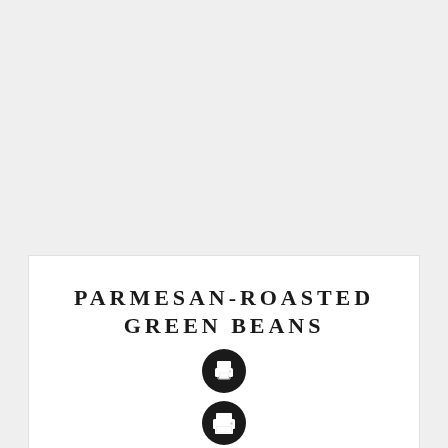PARMESAN-ROASTED GREEN BEANS
[Figure (illustration): Black circle with white printer icon in the center]
: 5 mins    : 15 mins    : 20 mins
: Sara @ Budget Savvy Diva    : Side    : 2